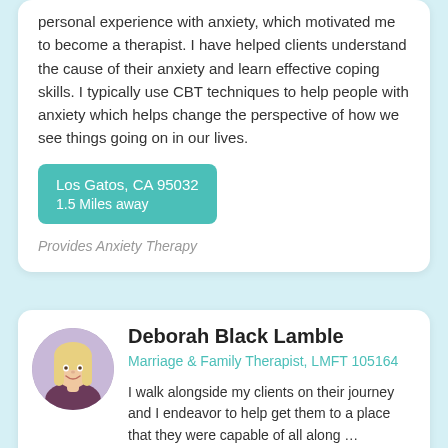personal experience with anxiety, which motivated me to become a therapist. I have helped clients understand the cause of their anxiety and learn effective coping skills. I typically use CBT techniques to help people with anxiety which helps change the perspective of how we see things going on in our lives.
Los Gatos, CA 95032
1.5 Miles away
Provides Anxiety Therapy
[Figure (photo): Circular portrait photo of Deborah Black Lamble, a blonde woman smiling]
Deborah Black Lamble
Marriage & Family Therapist, LMFT 105164
I walk alongside my clients on their journey and I endeavor to help get them to a place that they were capable of all along … wholeness and growth. I'm trained in